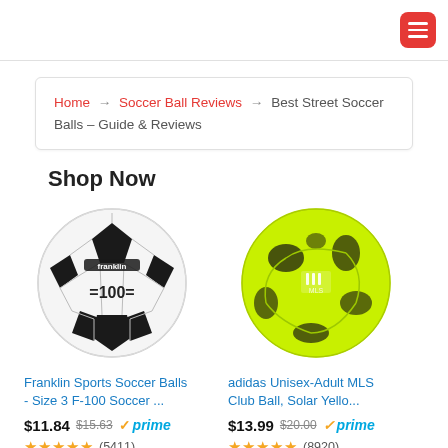Home → Soccer Ball Reviews → Best Street Soccer Balls – Guide & Reviews
Shop Now
[Figure (photo): Franklin Sports Soccer Ball - black and white traditional soccer ball with '=100=' text and Franklin branding]
Franklin Sports Soccer Balls - Size 3 F-100 Soccer ...
$11.84  $15.63  ✓prime
★★★★★ (5411)
[Figure (photo): Adidas Unisex-Adult MLS Club Ball in Solar Yellow with black graphic print and Adidas/MLS logos]
adidas Unisex-Adult MLS Club Ball, Solar Yello...
$13.99  $20.00  ✓prime
★★★★★ (8920)